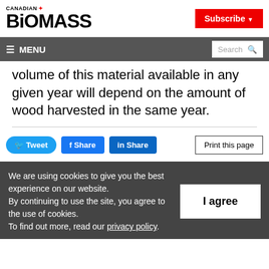CANADIAN BIOMASS
Subscribe
≡ MENU  Search
volume of this material available in any given year will depend on the amount of wood harvested in the same year.
Tweet  Share  Share  Print this page
We are using cookies to give you the best experience on our website. By continuing to use the site, you agree to the use of cookies. To find out more, read our privacy policy.
I agree